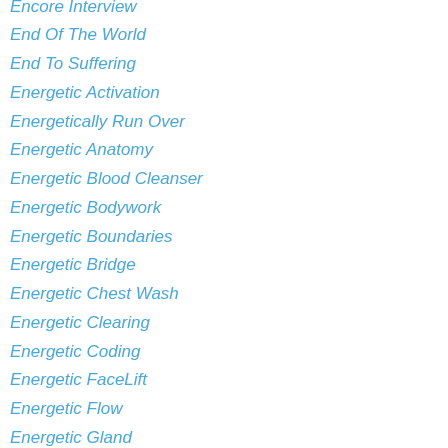Encore Interview
End Of The World
End To Suffering
Energetic Activation
Energetically Run Over
Energetic Anatomy
Energetic Blood Cleanser
Energetic Bodywork
Energetic Boundaries
Energetic Bridge
Energetic Chest Wash
Energetic Clearing
Energetic Coding
Energetic FaceLift
Energetic Flow
Energetic Gland
Energetic Gland Free Replay
Energetic Gridwork
Energetic Healing
Energetic Healing Tool
Energetic Heart